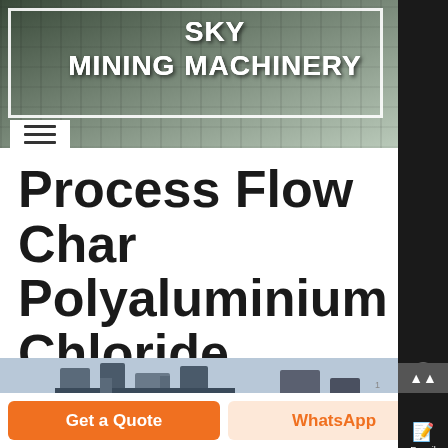[Figure (photo): Industrial mining machinery and quarry site with steel structures and conveyors — SKY Mining Machinery header banner]
SKY MINING MACHINERY
Process Flow Chart Polyaluminium Chloride
[Figure (photo): Industrial chemical processing facility with large cylindrical silos and ductwork against blue sky]
Chat
E-mail
Get a Quote
WhatsApp